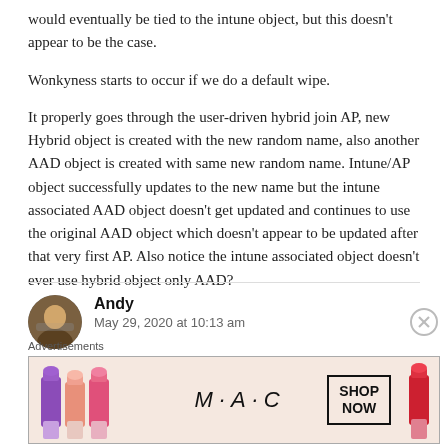would eventually be tied to the intune object, but this doesn't appear to be the case.
Wonkyness starts to occur if we do a default wipe.
It properly goes through the user-driven hybrid join AP, new Hybrid object is created with the new random name, also another AAD object is created with same new random name. Intune/AP object successfully updates to the new name but the intune associated AAD object doesn't get updated and continues to use the original AAD object which doesn't appear to be updated after that very first AP. Also notice the intune associated object doesn't ever use hybrid object only AAD?
★ Like
Andy
May 29, 2020 at 10:13 am
[Figure (other): MAC Cosmetics advertisement showing lipsticks with SHOP NOW button]